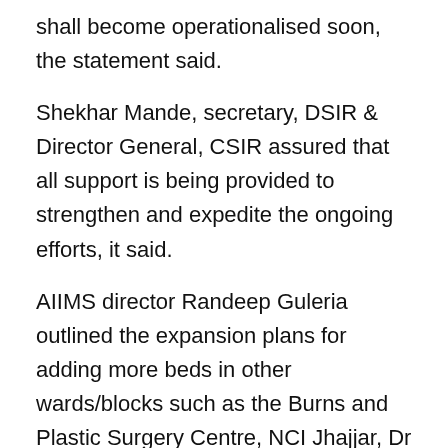shall become operationalised soon, the statement said.
Shekhar Mande, secretary, DSIR & Director General, CSIR assured that all support is being provided to strengthen and expedite the ongoing efforts, it said.
AIIMS director Randeep Guleria outlined the expansion plans for adding more beds in other wards/blocks such as the Burns and Plastic Surgery Centre, NCI Jhajjar, Dr R P Centre for Ophthalmic Sciences and the geriatric wards. The total capacity shall be enhanced to more than 1,000 beds for only COVID-19 patients, according to the statement.
Union Health Secretary Rajesh Bhushan underlined the measures taken by the government to resolve and streamline logistic issues related to transport of oxygen supply from manufacturing sources to hospitals.
He also talked about the 24X7 Control Room of the